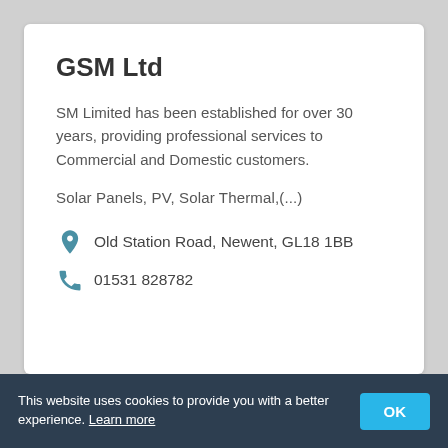GSM Ltd
SM Limited has been established for over 30 years, providing professional services to Commercial and Domestic customers.
Solar Panels, PV, Solar Thermal,(...)
Old Station Road, Newent, GL18 1BB
01531 828782
This website uses cookies to provide you with a better experience. Learn more